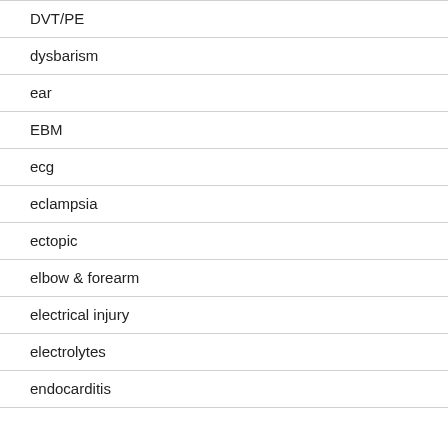DVT/PE
dysbarism
ear
EBM
ecg
eclampsia
ectopic
elbow & forearm
electrical injury
electrolytes
endocarditis